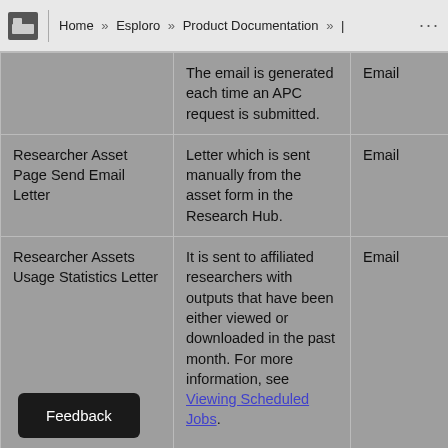Home » Esploro » Product Documentation » |  ...
|  | Description | Type | Ye... |
| --- | --- | --- | --- |
|  | The email is generated each time an APC request is submitted. | Email | Ye... |
| Researcher Asset Page Send Email Letter | Letter which is sent manually from the asset form in the Research Hub. | Email | Ye... |
| Researcher Assets Usage Statistics Letter | It is sent to affiliated researchers with outputs that have been either viewed or downloaded in the past month. For more information, see Viewing Scheduled Jobs. | Email | Ye... |